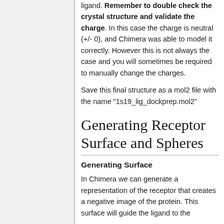ligand. Remember to double check the crystal structure and validate the charge. In this case the charge is neutral (+/- 0), and Chimera was able to model it correctly. However this is not always the case and you will sometimes be required to manually change the charges.
Save this final structure as a mol2 file with the name "1s19_lig_dockprep.mol2"
Generating Receptor Surface and Spheres
Generating Surface
In Chimera we can generate a representation of the receptor that creates a negative image of the protein. This surface will guide the ligand to the